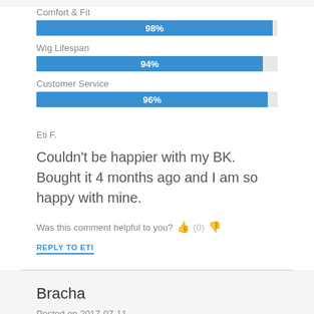[Figure (bar-chart): Ratings]
Eti F.
Couldn't be happier with my BK. Bought it 4 months ago and I am so happy with mine.
Was this comment helpful to you? (0)
REPLY TO ETI
Bracha
Posted on 2017-07-11